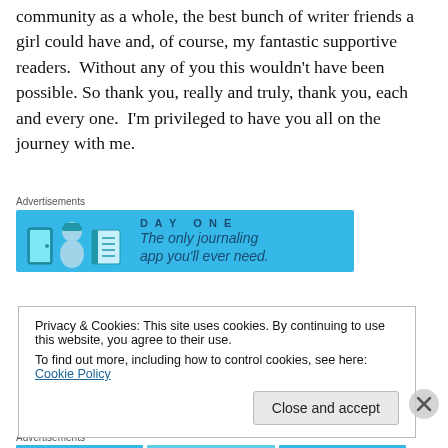community as a whole, the best bunch of writer friends a girl could have and, of course, my fantastic supportive readers.  Without any of you this wouldn't have been possible. So thank you, really and truly, thank you, each and every one.  I'm privileged to have you all on the journey with me.
[Figure (other): Advertisement banner for Day One journaling app with blue background, app icons, and text 'The only journaling app you'll ever need.']
Privacy & Cookies: This site uses cookies. By continuing to use this website, you agree to their use.
To find out more, including how to control cookies, see here: Cookie Policy
Close and accept